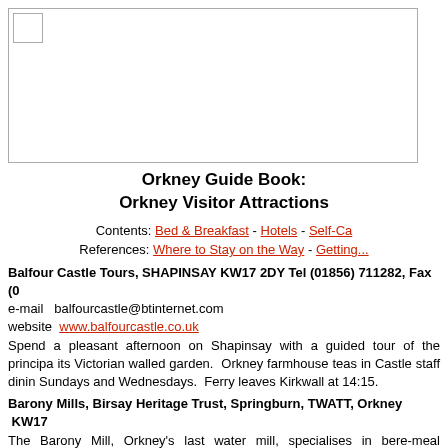[Figure (photo): Image placeholder with small broken image icon in top-left corner]
Orkney Guide Book:
Orkney Visitor Attractions
Contents: Bed & Breakfast - Hotels - Self-Ca
References: Where to Stay on the Way - Getting...
Balfour Castle Tours, SHAPINSAY KW17 2DY Tel (01856) 711282, Fax (0
e-mail   balfourcastle@btinternet.com
website  www.balfourcastle.co.uk
Spend a pleasant afternoon on Shapinsay with a guided tour of the principa
its Victorian walled garden.  Orkney farmhouse teas in Castle staff dinin
Sundays and Wednesdays.  Ferry leaves Kirkwall at 14:15.
Barony Mills, Birsay Heritage Trust, Springburn, TWATT, Orkney  KW17
The Barony Mill, Orkney's last water mill, specialises in bere-meal productio
at the west end of Boardhouse Loch.  Guided tours of mill.  Open eve
Admission charge.
Broch of Gurness, Aikerness, EVIE
Tel (01856) 751414